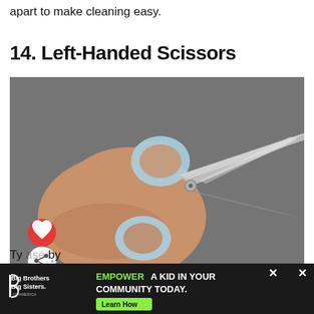apart to make cleaning easy.
14. Left-Handed Scissors
[Figure (photo): A hand holding left-handed scissors with light blue handles and silver blades open, against a grey background. A red heart/like button and a white share button are overlaid on the lower-left of the image.]
Ty                                ase    by
[Figure (infographic): Advertisement banner: Big Brothers Big Sisters logo on left, green text 'EMPOWER A KID IN YOUR COMMUNITY TODAY.' with a 'Learn How' button, and close buttons on the right.]